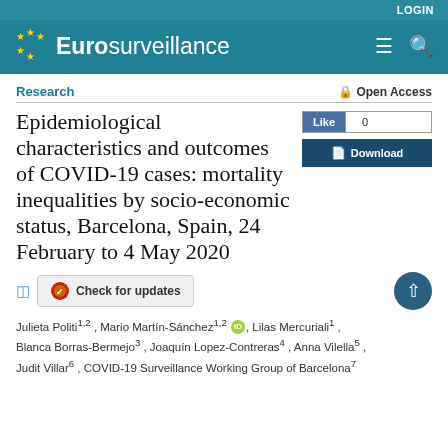LOGIN
[Figure (logo): Eurosurveillance journal logo with EU stars and teal header bar]
Research
🔒 Open Access
Epidemiological characteristics and outcomes of COVID-19 cases: mortality inequalities by socio-economic status, Barcelona, Spain, 24 February to 4 May 2020
Check for updates
Julieta Politi1,2 , Mario Martín-Sánchez1,2 , Lilas Mercuriali1 , Blanca Borras-Bermejo3 , Joaquín Lopez-Contreras4 , Anna Vilella5 , Judit Villar6 , COVID-19 Surveillance Working Group of Barcelona7